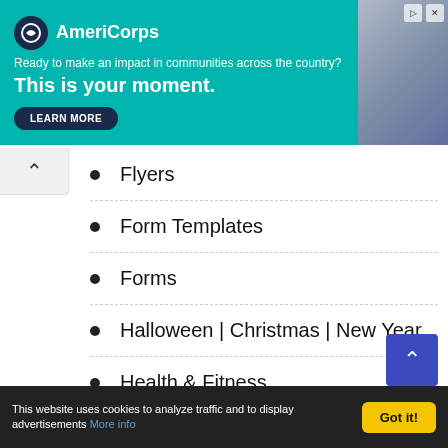[Figure (other): AmeriCorps advertisement banner with teal background. Logo with dark circle icon, tagline 'Ready to make an impact in communities across the country?', headline 'This is your moment.', and 'LEARN MORE' button. Right side shows a photo of people.]
Flyers
Form Templates
Forms
Halloween | Christmas | New Year
Health & Fitness
Household
Invoices
This website uses cookies to analyze traffic and to display advertisements More info